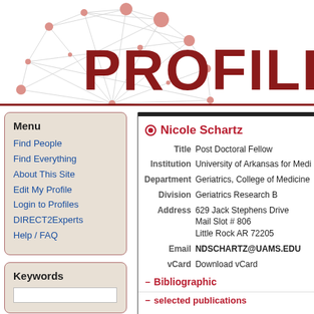[Figure (logo): PROFILES network visualization logo with red text PROFILES and ferris-wheel-like network graph in grey with red nodes]
Menu
Find People
Find Everything
About This Site
Edit My Profile
Login to Profiles
DIRECT2Experts
Help / FAQ
Nicole Schartz
| Field | Value |
| --- | --- |
| Title | Post Doctoral Fellow |
| Institution | University of Arkansas for Medi... |
| Department | Geriatrics, College of Medicine... |
| Division | Geriatrics Research B |
| Address | 629 Jack Stephens Drive
Mail Slot # 806
Little Rock AR 72205 |
| Email | NDSCHARTZ@UAMS.EDU |
| vCard | Download vCard |
Bibliographic
selected publications
Keywords